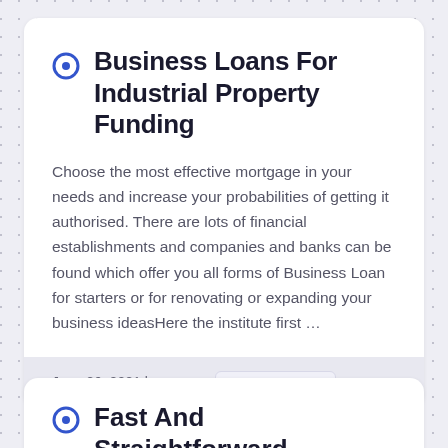Business Loans For Industrial Property Funding
Choose the most effective mortgage in your needs and increase your probabilities of getting it authorised. There are lots of financial establishments and companies and banks can be found which offer you all forms of Business Loan for starters or for renovating or expanding your business ideasHere the institute first …
June 26, 2021 by mezza   Business Loans
Fast And Straightforward